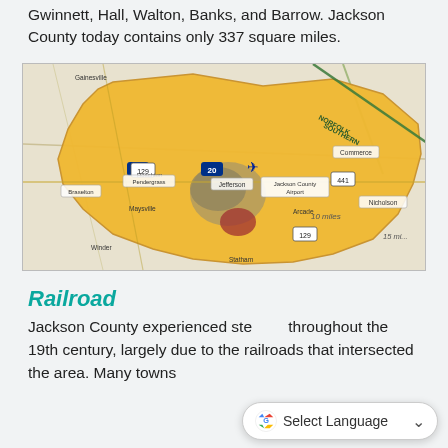Gwinnett, Hall, Walton, Banks, and Barrow. Jackson County today contains only 337 square miles.
[Figure (map): Map of Jackson County, Georgia showing county boundaries highlighted in yellow/gold, with surrounding roads, cities, railroads (Norfolk Southern), the Jackson County Airport, and scale markers of 10 miles and 15 miles.]
Railroad
Jackson County experienced ste throughout the 19th century, largely due to the railroads that intersected the area. Many towns